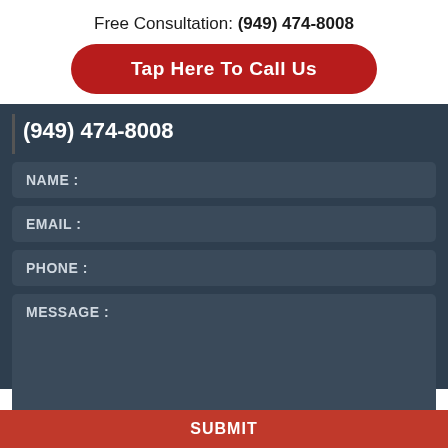Free Consultation: (949) 474-8008
Tap Here To Call Us
(949) 474-8008
NAME :
EMAIL :
PHONE :
MESSAGE :
SUBMIT